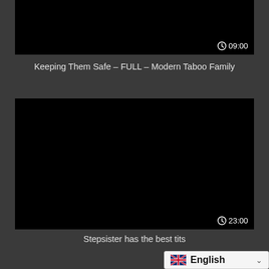[Figure (screenshot): Black video thumbnail with duration badge showing 09:00]
Keeping Them Safe – FULL – Modern Taboo Family
[Figure (screenshot): Black video thumbnail with duration badge showing 23:00]
Stepsister has the best tits
English